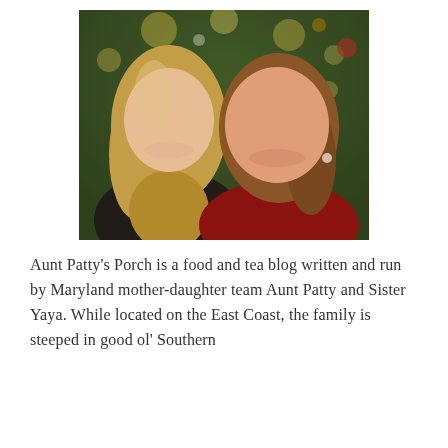[Figure (photo): Two smiling women posing together in front of a decorated Christmas tree with lights and ornaments. The woman on the left has long blonde hair and wears a dark top; the woman on the right has reddish-brown hair and wears a red top.]
Aunt Patty's Porch is a food and tea blog written and run by Maryland mother-daughter team Aunt Patty and Sister Yaya. While located on the East Coast, the family is steeped in good ol' Southern traditions, centered around food and drink. This bl...